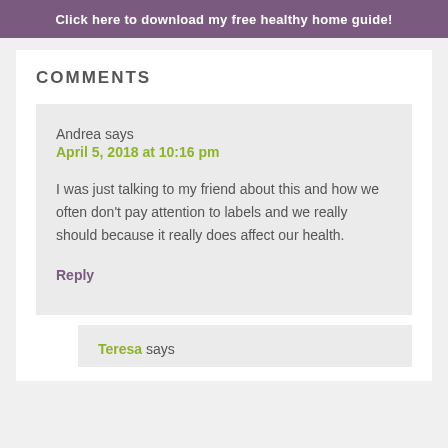Click here to download my free healthy home guide!
COMMENTS
Andrea says
April 5, 2018 at 10:16 pm

I was just talking to my friend about this and how we often don't pay attention to labels and we really should because it really does affect our health.

Reply
Teresa says